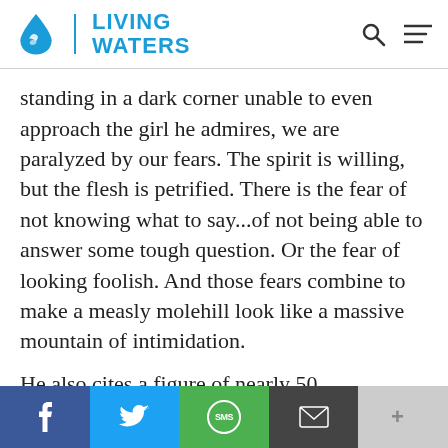LIVING WATERS
standing in a dark corner unable to even approach the girl he admires, we are paralyzed by our fears. The spirit is willing, but the flesh is petrified. There is the fear of not knowing what to say...of not being able to answer some tough question. Or the fear of looking foolish. And those fears combine to make a measly molehill look like a massive mountain of intimidation.